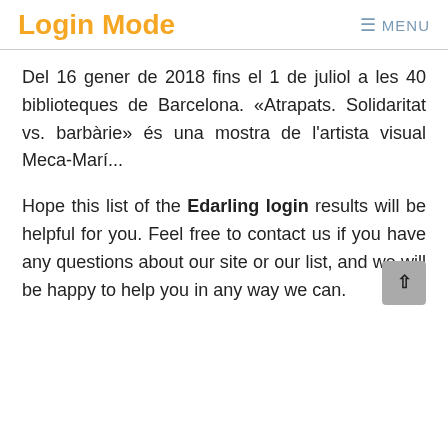Login Mode  ≡ MENU
Del 16 gener de 2018 fins el 1 de juliol a les 40 biblioteques de Barcelona. «Atrapats. Solidaritat vs. barbàrie» és una mostra de l'artista visual Meca-Marí...
Hope this list of the Edarling login results will be helpful for you. Feel free to contact us if you have any questions about our site or our list, and we will be happy to help you in any way we can.